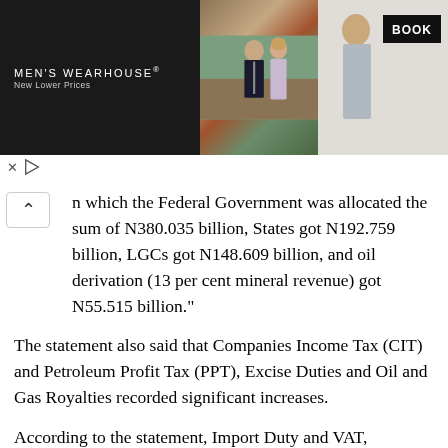[Figure (other): Men's Wearhouse advertisement banner showing a couple in formal wear and a solo male figure in a suit, with 'New Lower Prices' tagline and a 'BOOK' button]
n which the Federal Government was allocated the sum of N380.035 billion, States got N192.759 billion, LGCs got N148.609 billion, and oil derivation (13 per cent mineral revenue) got N55.515 billion."
The statement also said that Companies Income Tax (CIT) and Petroleum Profit Tax (PPT), Excise Duties and Oil and Gas Royalties recorded significant increases.
According to the statement, Import Duty and VAT, however, decreased considerably.
It said that total revenue distributable for the current month of July was drawn from Statutory Revenue of N776.918 billion.